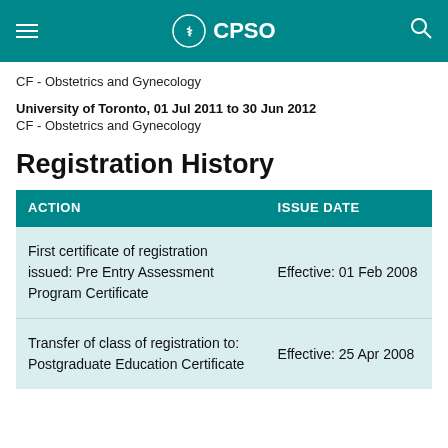CPSO
CF - Obstetrics and Gynecology
University of Toronto, 01 Jul 2011 to 30 Jun 2012
CF - Obstetrics and Gynecology
Registration History
| ACTION | ISSUE DATE |
| --- | --- |
| First certificate of registration issued: Pre Entry Assessment Program Certificate | Effective: 01 Feb 2008 |
| Transfer of class of registration to: Postgraduate Education Certificate | Effective: 25 Apr 2008 |